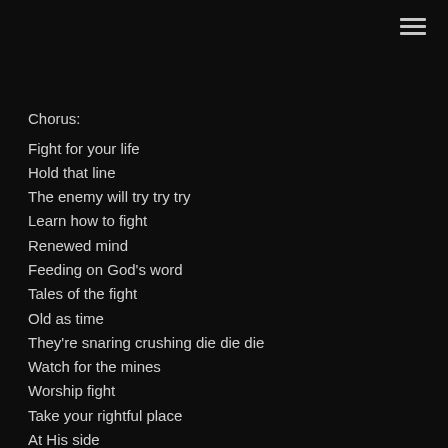[Figure (other): Hamburger menu icon (three horizontal lines) in the top-right corner]
Chorus:
Fight for your life
Hold that line
The enemy will try try try
Learn how to fight
Renewed mind
Feeding on God's word
Tales of the fight
Old as time
They're snaring crushing die die die
Watch for the mines
Worship fight
Take your rightful place
At His side